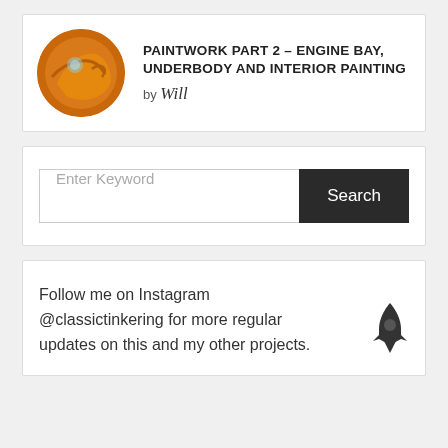[Figure (photo): Circular avatar image showing an orange-painted engine bay or car interior]
PAINTWORK PART 2 – ENGINE BAY, UNDERBODY AND INTERIOR PAINTING
by Will
Enter Keyword
Search
Follow me on Instagram @classictinkering for more regular updates on this and my other projects.
[Figure (illustration): Rocket icon silhouette]